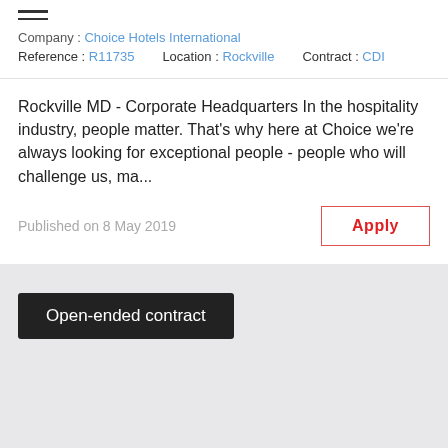Company : Choice Hotels International
Reference : R11735   Location : Rockville   Contract : CDI
Rockville MD - Corporate Headquarters In the hospitality industry, people matter. That's why here at Choice we're always looking for exceptional people - people who will challenge us, ma...
Published on 8 May 2019
Open-ended contract